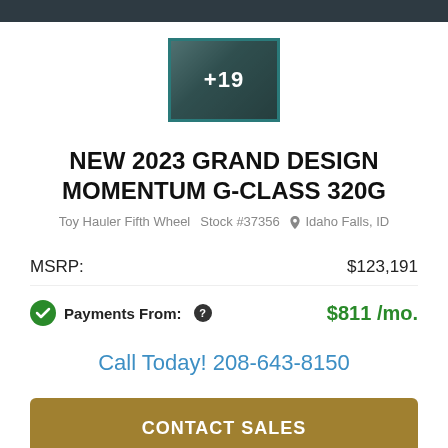[Figure (photo): Thumbnail image of RV interior with +19 overlay indicating 19 more photos]
NEW 2023 GRAND DESIGN MOMENTUM G-CLASS 320G
Toy Hauler Fifth Wheel   Stock #37356   Idaho Falls, ID
MSRP: $123,191
Payments From: $811 /mo.
Call Today! 208-643-8150
CONTACT SALES